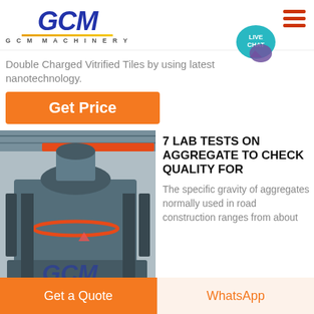[Figure (logo): GCM Machinery logo in blue italic bold text with gold underline and 'GCM MACHINERY' subtitle]
[Figure (infographic): Hamburger menu icon (three orange-red horizontal bars) and teal LIVE CHAT speech bubble icon in top right]
Double Charged Vitrified Tiles by using latest nanotechnology.
Get Price
[Figure (photo): Industrial crushing/grinding machine (VSI sand maker or similar) in a factory, with GCM watermark logo]
7 LAB TESTS ON AGGREGATE TO CHECK QUALITY FOR
The specific gravity of aggregates normally used in road construction ranges from about
Get a Quote
WhatsApp